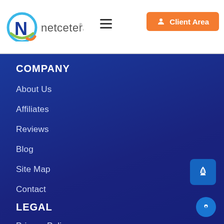[Figure (logo): Netcetera logo with stylized N mark in blue/green/orange and wordmark 'netcetera']
COMPANY
About Us
Affiliates
Reviews
Blog
Site Map
Contact
LEGAL
Privacy Policy
AUP